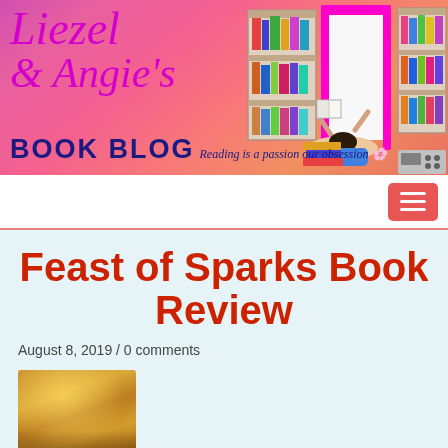[Figure (illustration): Liezel and Angie's Book Blog banner with pink/coral gradient background, script logo text, bookshelf illustration with person reading]
Liezel & Angie's BOOK BLOG — Reading is a passion our obsession
Feast of Sparks Book Review
August 8, 2019 / 0 comments
[Figure (photo): Book cover thumbnail showing golden sparkly cover image]